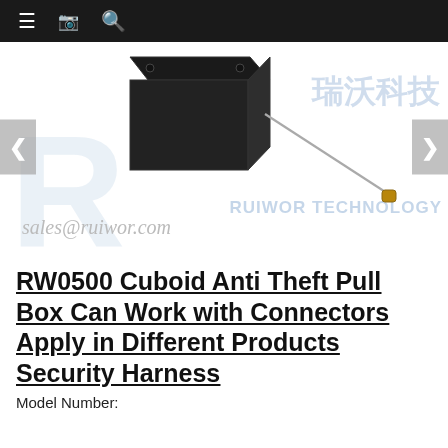[Figure (photo): Product photo of RW0500 Cuboid Anti Theft Pull Box with a retractable steel cable and brass connector tip, displayed against a white background with Ruiwor Technology watermark logo and Chinese characters]
sales@ruiwor.com
RW0500 Cuboid Anti Theft Pull Box Can Work with Connectors Apply in Different Products Security Harness
Model Number: